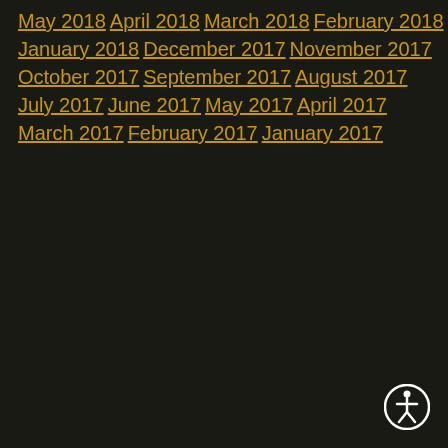May 2018
April 2018
March 2018
February 2018
January 2018
December 2017
November 2017
October 2017
September 2017
August 2017
July 2017
June 2017
May 2017
April 2017
March 2017
February 2017
January 2017
[Figure (illustration): Accessibility icon - white person figure in a circle on dark background]